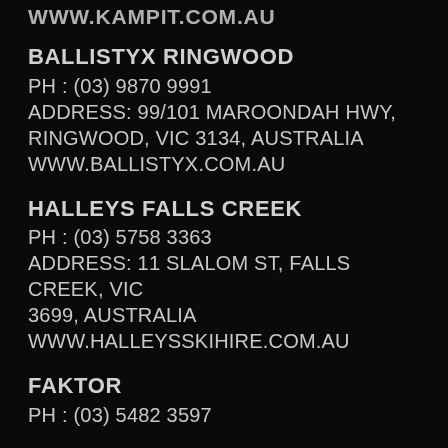WWW.KAMPIT.COM.AU
BALLISTYX RINGWOOD
PH : (03) 9870 9991
ADDRESS: 99/101 MAROONDAH HWY, RINGWOOD, VIC 3134, AUSTRALIA
WWW.BALLISTYX.COM.AU
HALLEYS FALLS CREEK
PH : (03) 5758 3363
ADDRESS: 11 SLALOM ST, FALLS CREEK, VIC 3699, AUSTRALIA
WWW.HALLEYSSKIHIRE.COM.AU
FAKTOR
PH : (03) 5482 3597